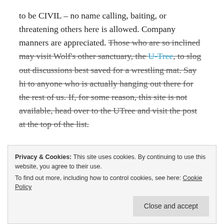to be CIVIL – no name calling, baiting, or threatening others here is allowed. Company manners are appreciated. Those who are so inclined may visit Wolf's other sanctuary, the U-Tree, to slog out discussions best saved for a wrestling mat. Say hi to anyone who is actually hanging out there for the rest of us. If, for some reason, this site is not available, head over to the UTree and visit the post at the top of the list.
This site is a celebration of the natural rights endowed to humans by our Creator as well as those enshrined in
Privacy & Cookies: This site uses cookies. By continuing to use this website, you agree to their use. To find out more, including how to control cookies, see here: Cookie Policy